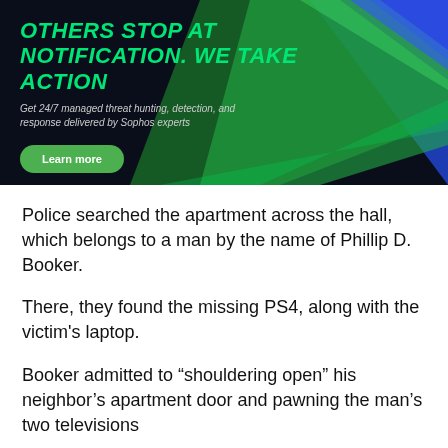[Figure (infographic): Sophos advertisement banner with dark navy/black background, green and blue diagonal geometric shapes. Bold green italic title text: 'OTHERS STOP AT NOTIFICATION. WE TAKE ACTION'. Subtitle: 'Get 24/7 managed threat hunting, detection, and response delivered by Sophos experts'. Green 'Learn more' button.]
Police searched the apartment across the hall, which belongs to a man by the name of Phillip D. Booker.
There, they found the missing PS4, along with the victim’s laptop.
Booker admitted to “shouldering open” his neighbor’s apartment door and pawning the man’s two televisions